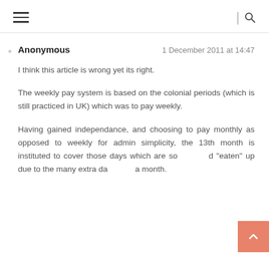≡  | 🔍
Anonymous   1 December 2011 at 14:47

I think this article is wrong yet its right.

The weekly pay system is based on the colonial periods (which is still practiced in UK) which was to pay weekly.

Having gained independance, and choosing to pay monthly as opposed to weekly for admin simplicity, the 13th month is instituted to cover those days which are so[me]d "eaten" up due to the many extra da[ys in] a month.